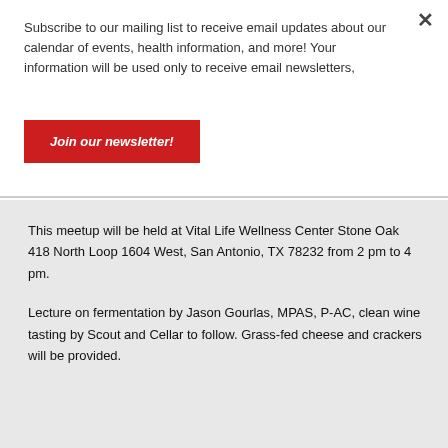Subscribe to our mailing list to receive email updates about our calendar of events, health information, and more! Your information will be used only to receive email newsletters,
Join our newsletter!
This meetup will be held at Vital Life Wellness Center Stone Oak 418 North Loop 1604 West, San Antonio, TX 78232 from 2 pm to 4 pm.
Lecture on fermentation by Jason Gourlas, MPAS, P-AC, clean wine tasting by Scout and Cellar to follow. Grass-fed cheese and crackers will be provided.